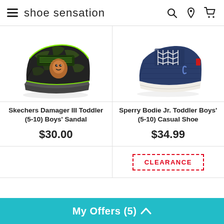Shoe Sensation
[Figure (photo): Skechers Damager III Toddler boys sandal - black with green accents and velcro strap]
Skechers Damager III Toddler (5-10) Boys' Sandal
$30.00
[Figure (photo): Sperry Bodie Jr. Toddler Boys navy canvas casual shoe with white sole and laces]
Sperry Bodie Jr. Toddler Boys' (5-10) Casual Shoe
$34.99
CLEARANCE
My Offers (5)